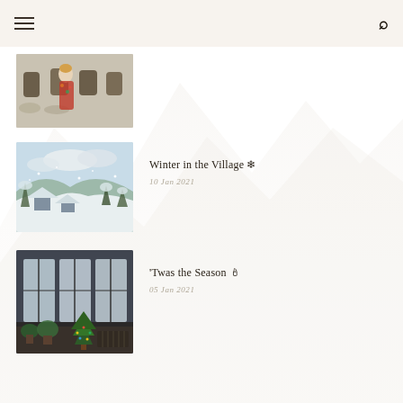Navigation menu and search icon
[Figure (photo): Woman in floral dress standing outside a historic building with arched windows and textured white facade]
[Figure (photo): Winter snowy village landscape with trees and rooftops covered in snow, viewed from above]
Winter in the Village ❄
10 Jan 2021
[Figure (photo): Indoor scene with large windows, houseplants including a small decorated Christmas tree with warm lights]
'Twas the Season 🕯
05 Jan 2021